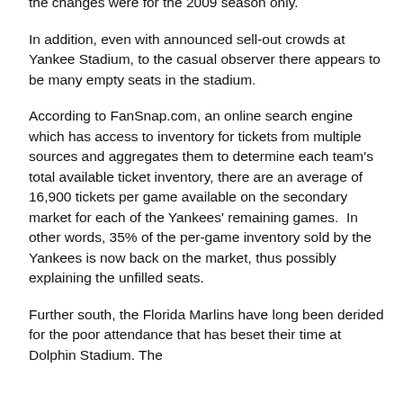strategy in light of current economic conditions and that the changes were for the 2009 season only.
In addition, even with announced sell-out crowds at Yankee Stadium, to the casual observer there appears to be many empty seats in the stadium.
According to FanSnap.com, an online search engine which has access to inventory for tickets from multiple sources and aggregates them to determine each team's total available ticket inventory, there are an average of 16,900 tickets per game available on the secondary market for each of the Yankees' remaining games.  In other words, 35% of the per-game inventory sold by the Yankees is now back on the market, thus possibly explaining the unfilled seats.
Further south, the Florida Marlins have long been derided for the poor attendance that has beset their time at Dolphin Stadium. The